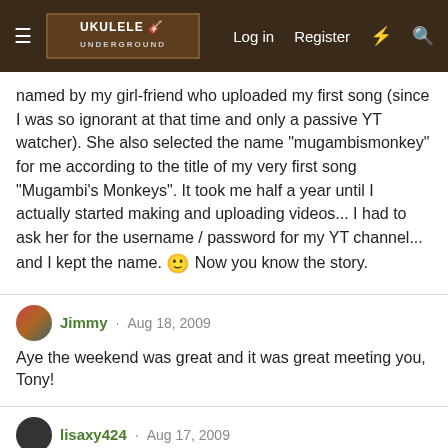Ukulele Underground — Log in | Register
named by my girl-friend who uploaded my first song (since I was so ignorant at that time and only a passive YT watcher). She also selected the name "mugambismonkey" for me according to the title of my very first song "Mugambi's Monkeys". It took me half a year until I actually started making and uploading videos... I had to ask her for the username / password for my YT channel... and I kept the name. 🙂 Now you know the story.
Jimmy · Aug 18, 2009
Aye the weekend was great and it was great meeting you, Tony!
lisaxy424 · Aug 17, 2009
Tony - who drew that picture of you!? I LOVE IT! 😁
Aug 8, 2009